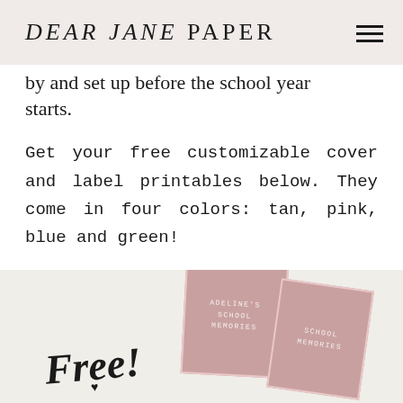DEAR JANE PAPER
by and set up before the school year starts.
Get your free customizable cover and label printables below. They come in four colors: tan, pink, blue and green!
[Figure (photo): Image showing school memory book covers in pink color. One card reads 'ADELINE'S SCHOOL MEMORIES'. Script text 'Free!' with a small heart is displayed on the left side. Background is light beige/cream.]